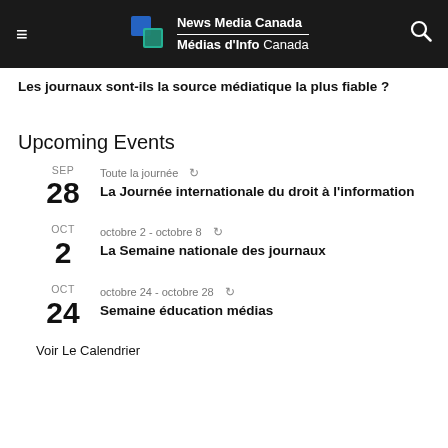News Media Canada / Médias d'Info Canada
Les journaux sont-ils la source médiatique la plus fiable ?
Upcoming Events
SEP 28 — Toute la journée — La Journée internationale du droit à l'information
OCT 2 — octobre 2 - octobre 8 — La Semaine nationale des journaux
OCT 24 — octobre 24 - octobre 28 — Semaine éducation médias
Voir Le Calendrier